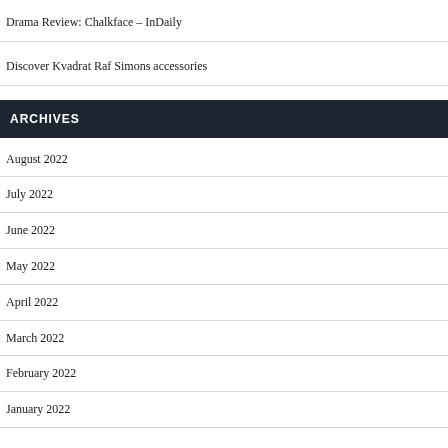Drama Review: Chalkface – InDaily
Discover Kvadrat Raf Simons accessories
ARCHIVES
August 2022
July 2022
June 2022
May 2022
April 2022
March 2022
February 2022
January 2022